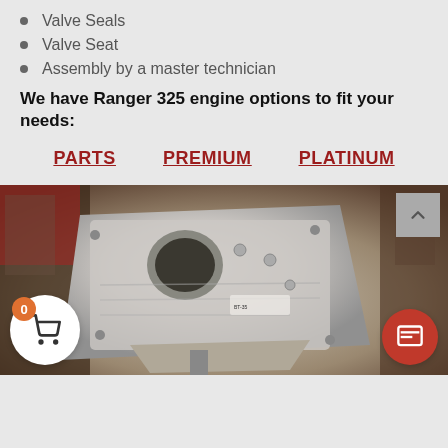Valve Seals
Valve Seat
Assembly by a master technician
We have Ranger 325 engine options to fit your needs:
PARTS
PREMIUM
PLATINUM
[Figure (photo): Photo of a partially assembled engine block, silver/aluminum colored, in a workshop setting with tools and parts visible in the background.]